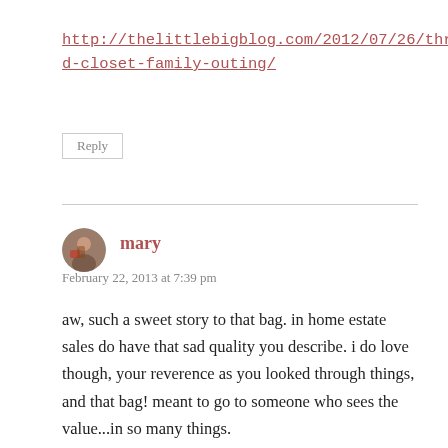http://thelittlebigblog.com/2012/07/26/thrifted-closet-family-outing/
Reply
mary
February 22, 2013 at 7:39 pm
aw, such a sweet story to that bag. in home estate sales do have that sad quality you describe. i do love though, your reverence as you looked through things, and that bag! meant to go to someone who sees the value...in so many things.